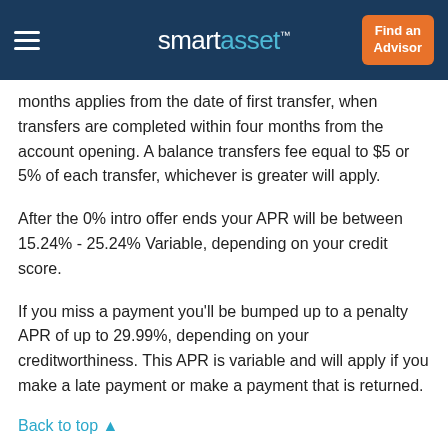smartasset™  Find an Advisor
months applies from the date of first transfer, when transfers are completed within four months from the account opening. A balance transfers fee equal to $5 or 5% of each transfer, whichever is greater will apply.
After the 0% intro offer ends your APR will be between 15.24% - 25.24% Variable, depending on your credit score.
If you miss a payment you'll be bumped up to a penalty APR of up to 29.99%, depending on your creditworthiness. This APR is variable and will apply if you make a late payment or make a payment that is returned.
Back to top ▲
What's the Catch